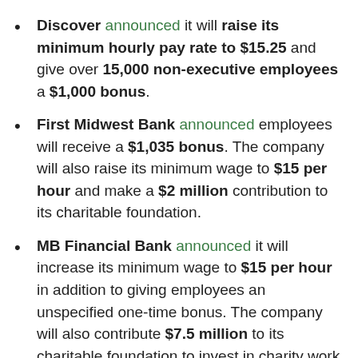Discover announced it will raise its minimum hourly pay rate to $15.25 and give over 15,000 non-executive employees a $1,000 bonus.
First Midwest Bank announced employees will receive a $1,035 bonus. The company will also raise its minimum wage to $15 per hour and make a $2 million contribution to its charitable foundation.
MB Financial Bank announced it will increase its minimum wage to $15 per hour in addition to giving employees an unspecified one-time bonus. The company will also contribute $7.5 million to its charitable foundation to invest in charity work in the community.
Emkay, Inc. announced $1,000 bonuses for